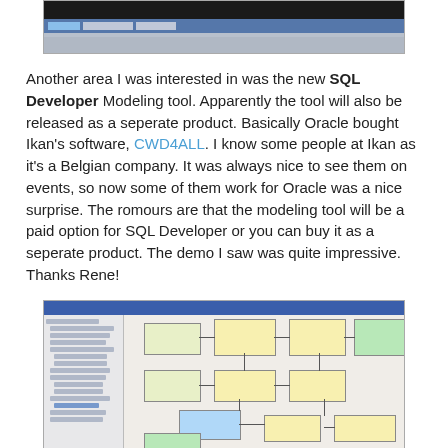[Figure (screenshot): Screenshot of a computer screen/application, partially visible at top of page]
Another area I was interested in was the new SQL Developer Modeling tool. Apparently the tool will also be released as a seperate product. Basically Oracle bought Ikan's software, CWD4ALL. I know some people at Ikan as it's a Belgian company. It was always nice to see them on events, so now some of them work for Oracle was a nice surprise. The romours are that the modeling tool will be a paid option for SQL Developer or you can buy it as a seperate product. The demo I saw was quite impressive. Thanks Rene!
[Figure (screenshot): Screenshot of SQL Developer Modeling tool showing an entity-relationship diagram with boxes connected by lines, with a tree panel on the left]